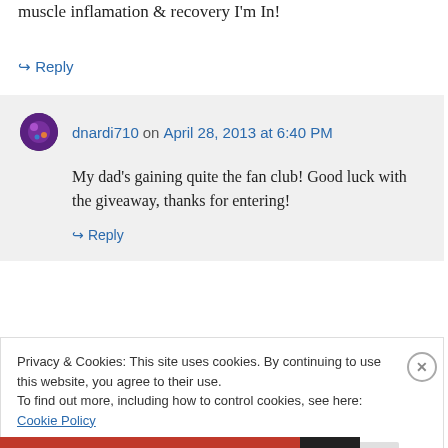muscle inflamation & recovery I'm In!
↪ Reply
dnardi710 on April 28, 2013 at 6:40 PM
My dad's gaining quite the fan club! Good luck with the giveaway, thanks for entering!
↪ Reply
Privacy & Cookies: This site uses cookies. By continuing to use this website, you agree to their use. To find out more, including how to control cookies, see here: Cookie Policy
Close and accept